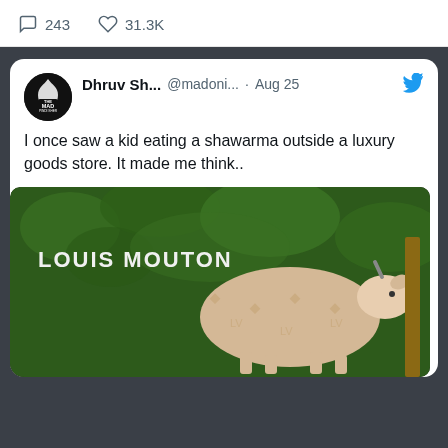[Figure (screenshot): Top of a tweet showing engagement icons: comment (243) and heart (31.3K) on white background]
243   31.3K
Dhruv Sh... @madoni... · Aug 25
I once saw a kid eating a shawarma outside a luxury goods store. It made me think..
[Figure (photo): Meme image showing a goat with Louis Vuitton pattern overlaid, text reads LOUIS MOUTON]
BAD BILINGUAL PUNS FROM MY TUMBLR